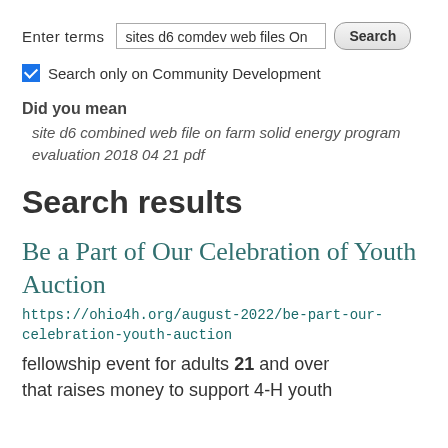Enter terms  sites d6 comdev web files On  Search
Search only on Community Development
Did you mean
site d6 combined web file on farm solid energy program evaluation 2018 04 21 pdf
Search results
Be a Part of Our Celebration of Youth Auction
https://ohio4h.org/august-2022/be-part-our-celebration-youth-auction
fellowship event for adults 21 and over that raises money to support 4-H youth